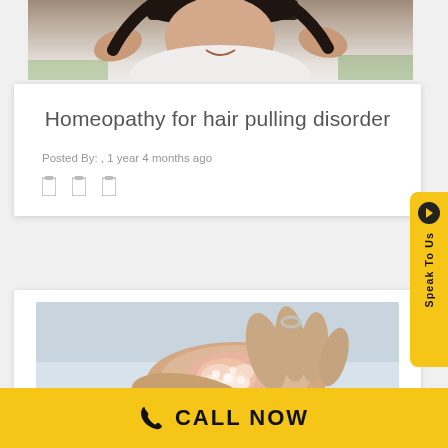[Figure (photo): Woman with hands in her hair, smiling outdoors in a white t-shirt]
Homeopathy for hair pulling disorder
Posted By: , 1 year 4 months ago
[Figure (photo): Close-up of hands scratching inflamed, scaly skin condition (psoriasis or eczema)]
Speak To Us
CALL NOW